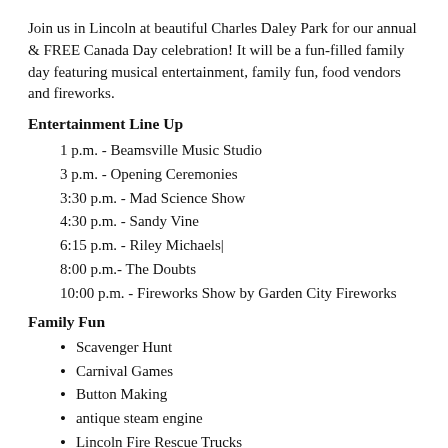Join us in Lincoln at beautiful Charles Daley Park for our annual & FREE Canada Day celebration! It will be a fun-filled family day featuring musical entertainment, family fun, food vendors and fireworks.
Entertainment Line Up
1 p.m. - Beamsville Music Studio
3 p.m. - Opening Ceremonies
3:30 p.m. - Mad Science Show
4:30 p.m.  - Sandy Vine
6:15 p.m. - Riley Michaels|
8:00 p.m.- The Doubts
10:00 p.m. - Fireworks Show by Garden City Fireworks
Family Fun
Scavenger Hunt
Carnival Games
Button Making
antique steam engine
Lincoln Fire Rescue Trucks